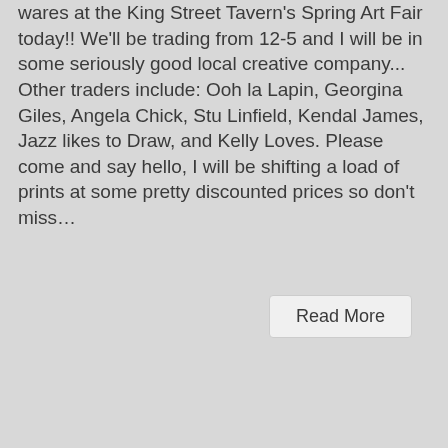wares at the King Street Tavern's Spring Art Fair today!! We'll be trading from 12-5 and I will be in some seriously good local creative company... Other traders include: Ooh la Lapin, Georgina Giles, Angela Chick, Stu Linfield, Kendal James, Jazz likes to Draw, and Kelly Loves. Please come and say hello, I will be shifting a load of prints at some pretty discounted prices so don't miss...
Read More